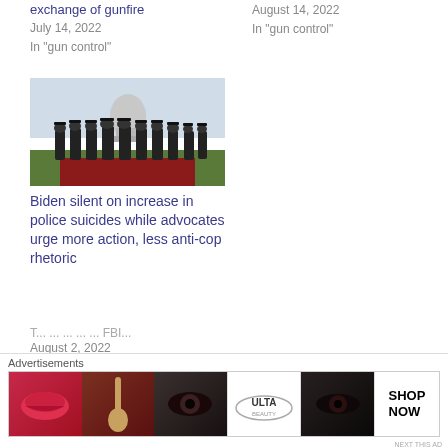exchange of gunfire
July 14, 2022
In "gun control"
August 14, 2022
In "gun control"
[Figure (photo): Group of police officers in uniform standing in formation with the US Capitol building in the background]
Biden silent on increase in police suicides while advocates urge more action, less anti-cop rhetoric
August 2, 2022
In "gun control"
Advertisements
[Figure (photo): Ulta Beauty advertisement banner showing makeup and cosmetics imagery with SHOP NOW call to action]